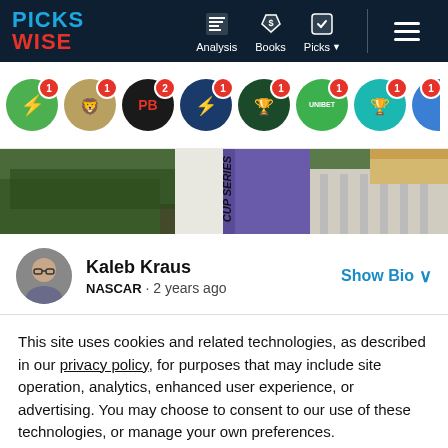PICKS WISE — Navigation bar with Analysis, Books, Picks menu items
[Figure (screenshot): Sports betting sportsbook icons row with badges showing notification counts: DraftKings (1), FanDuel (1), PointsBet (2), unknown (1), unknown (1), unknown (1), Yahtzee/yellow (1), partial blue circle]
[Figure (photo): Header image showing NASCAR race with 'CUP SERIES' text partially visible, purple pants, hedges in background]
Kaleb Kraus
NASCAR · 2 years ago
Show Bio
This site uses cookies and related technologies, as described in our privacy policy, for purposes that may include site operation, analytics, enhanced user experience, or advertising. You may choose to consent to our use of these technologies, or manage your own preferences.
Manage Settings | Accept | Decline All